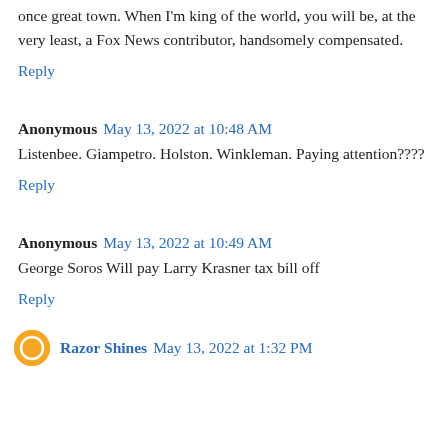once great town. When I'm king of the world, you will be, at the very least, a Fox News contributor, handsomely compensated.
Reply
Anonymous  May 13, 2022 at 10:48 AM
Listenbee. Giampetro. Holston. Winkleman. Paying attention????
Reply
Anonymous  May 13, 2022 at 10:49 AM
George Soros Will pay Larry Krasner tax bill off
Reply
Razor Shines  May 13, 2022 at 1:32 PM